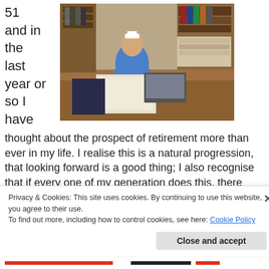51 and in the last year or so I have
[Figure (photo): A nurse in blue uniform sitting at a desk in an office, working with papers, with shelves and binders visible in the background.]
thought about the prospect of retirement more than ever in my life. I realise this is a natural progression, that looking forward is a good thing; I also recognise that if every one of my generation does this, there could be an inevitable skill gap. There are ways less experienced nurses can be supported to
Privacy & Cookies: This site uses cookies. By continuing to use this website, you agree to their use.
To find out more, including how to control cookies, see here: Cookie Policy
Close and accept